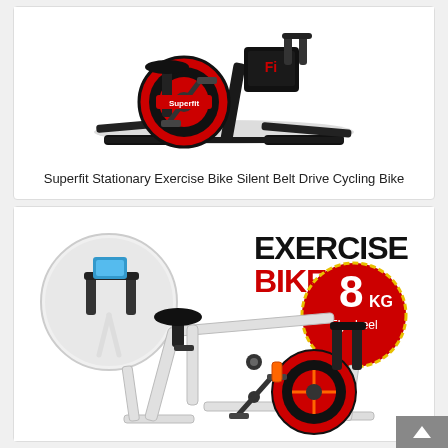[Figure (photo): Superfit stationary exercise bike with black frame, red flywheel covers, on a white background. The bike is shown from a side-front angle.]
Superfit Stationary Exercise Bike Silent Belt Drive Cycling Bike
[Figure (photo): White exercise bike with red flywheel accents and a circular inset image showing the handlebars and monitor. Large text reads EXERCISE BIKE 8 KG Flywheel.]